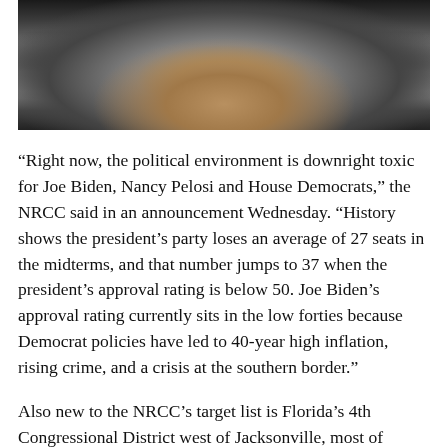[Figure (photo): A man in a grey suit with a yellow tie speaking to reporters, with microphones extended toward him. Dark background with multiple figures visible.]
“Right now, the political environment is downright toxic for Joe Biden, Nancy Pelosi and House Democrats,” the NRCC said in an announcement Wednesday. “History shows the president’s party loses an average of 27 seats in the midterms, and that number jumps to 37 when the president’s approval rating is below 50. Joe Biden’s approval rating currently sits in the low forties because Democrat policies have led to 40-year high inflation, rising crime, and a crisis at the southern border.”
Also new to the NRCC’s target list is Florida’s 4th Congressional District west of Jacksonville, most of which is currently represented by Rep. Al Lawson, D-Fla. The district has been redrawn in the once-in-a-decade redistricting process and now leans red.